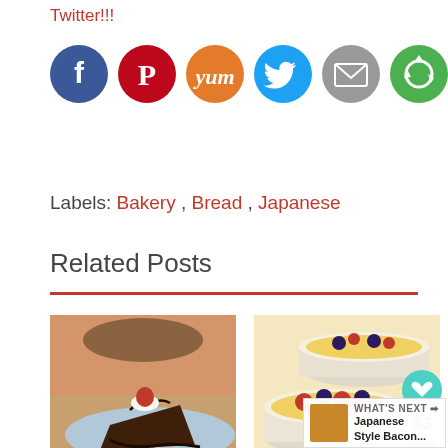Twitter!!!
[Figure (infographic): Six social media sharing icons in circles: Facebook (blue), Pinterest (red), Yummly (orange), Twitter (light blue), Email (gray), and a recycle/share icon (green)]
Labels: Bakery , Bread , Japanese
Related Posts
[Figure (photo): Chocolate Chiffon Cake slice on a blue plate with strawberry and chocolate drizzle]
Chocolate Chiffon Cake
[Figure (photo): Yoghurt Custard with Mixed Berries in white ramekins]
Yoghurt Custard with Mixed Berries